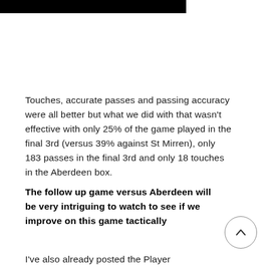[Figure (other): Black horizontal bar at top of page]
Touches, accurate passes and passing accuracy were all better but what we did with that wasn't effective with only 25% of the game played in the final 3rd (versus 39% against St Mirren), only 183 passes in the final 3rd and only 18 touches in the Aberdeen box.
The follow up game versus Aberdeen will be very intriguing to watch to see if we improve on this game tactically
I've also already posted the Player